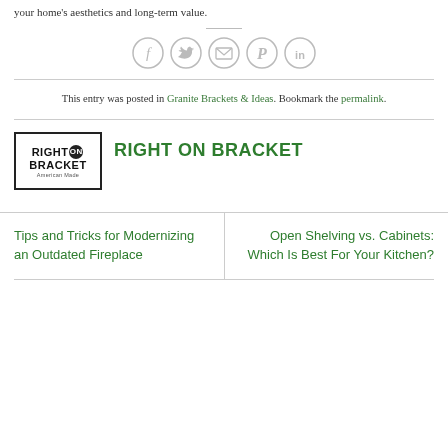your home's aesthetics and long-term value.
[Figure (illustration): Five social sharing icon circles: Facebook (f), Twitter (bird), Email (envelope), Pinterest (P), LinkedIn (in)]
This entry was posted in Granite Brackets & Ideas. Bookmark the permalink.
[Figure (logo): Right On Bracket logo — black bordered box with RIGHT ON BRACKET text and 'American Made' tagline]
RIGHT ON BRACKET
Tips and Tricks for Modernizing an Outdated Fireplace
Open Shelving vs. Cabinets: Which Is Best For Your Kitchen?